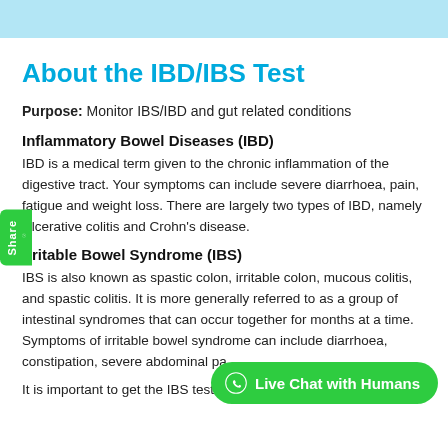About the IBD/IBS Test
Purpose: Monitor IBS/IBD and gut related conditions
Inflammatory Bowel Diseases (IBD)
IBD is a medical term given to the chronic inflammation of the digestive tract. Your symptoms can include severe diarrhoea, pain, fatigue and weight loss. There are largely two types of IBD, namely Ulcerative colitis and Crohn's disease.
Irritable Bowel Syndrome (IBS)
IBS is also known as spastic colon, irritable colon, mucous colitis, and spastic colitis. It is more generally referred to as a group of intestinal syndromes that can occur together for months at a time. Symptoms of irritable bowel syndrome can include diarrhoea, constipation, severe abdominal pa…
It is important to get the IBS test in Mumbai at-home so that you…